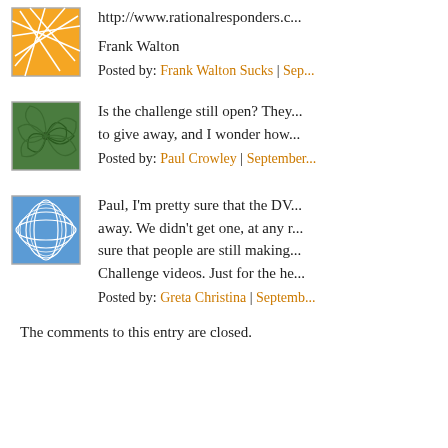[Figure (illustration): Orange avatar with abstract geometric white line pattern]
http://www.rationalresponders.c...
Frank Walton
Posted by: Frank Walton Sucks | Sep...
[Figure (illustration): Green avatar with spiral swirl pattern]
Is the challenge still open? They... to give away, and I wonder how...
Posted by: Paul Crowley | September...
[Figure (illustration): Blue avatar with geometric spiral/web pattern]
Paul, I'm pretty sure that the DV... away. We didn't get one, at any r... sure that people are still making... Challenge videos. Just for the he...
Posted by: Greta Christina | Septemb...
The comments to this entry are closed.